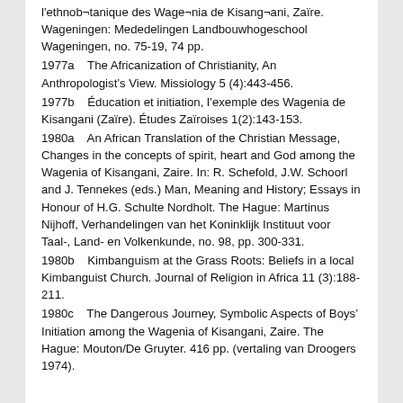l'ethnob¬tanique des Wage¬nia de Kisang¬ani, Zaïre. Wageningen: Mededelingen Landbouwhogeschool Wageningen, no. 75-19, 74 pp.
1977a    The Africanization of Christianity, An Anthropologist's View. Missiology 5 (4):443-456.
1977b    Éducation et initiation, l'exemple des Wagenia de Kisangani (Zaïre). Études Zaïroises 1(2):143-153.
1980a    An African Translation of the Christian Message, Changes in the concepts of spirit, heart and God among the Wagenia of Kisangani, Zaire. In: R. Schefold, J.W. Schoorl and J. Tennekes (eds.) Man, Meaning and History; Essays in Honour of H.G. Schulte Nordholt. The Hague: Martinus Nijhoff, Verhandelingen van het Koninklijk Instituut voor Taal-, Land- en Volkenkunde, no. 98, pp. 300-331.
1980b    Kimbanguism at the Grass Roots: Beliefs in a local Kimbanguist Church. Journal of Religion in Africa 11 (3):188-211.
1980c    The Dangerous Journey, Symbolic Aspects of Boys' Initiation among the Wagenia of Kisangani, Zaire. The Hague: Mouton/De Gruyter. 416 pp. (vertaling van Droogers 1974).